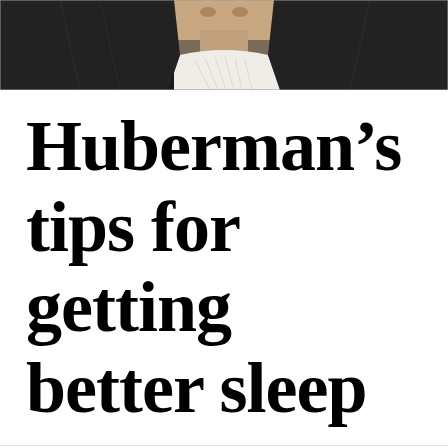[Figure (photo): Top portion of a person wearing a dark jacket with a patterned white collar/shirt, partial face visible at top, cropped close-up]
Huberman’s tips for getting better sleep
Andrew D. Huberman, Ph.... @hubermanlab